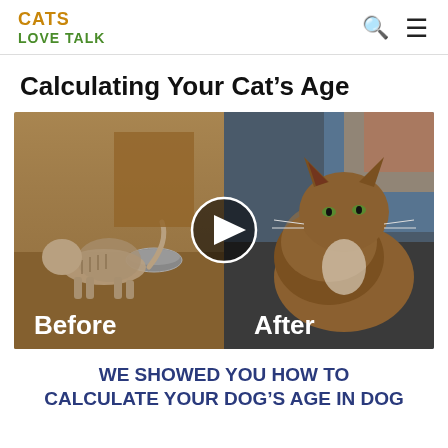CATS LOVE TALK
Calculating Your Cat's Age
[Figure (photo): Before and after photo of a cat recovery, with a play button overlay. Left side shows an emaciated cat labeled 'Before', right side shows a healthy fluffy cat labeled 'After'.]
WE SHOWED YOU HOW TO CALCULATE YOUR DOG'S AGE IN DOG